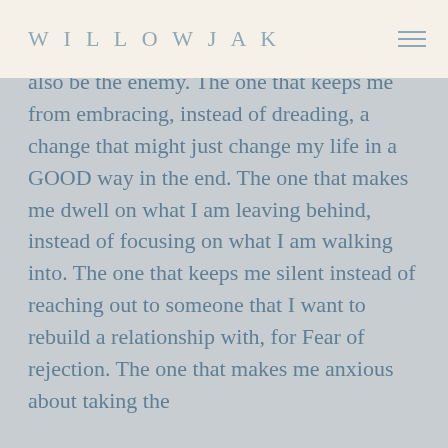WILLOWJAK
also be the enemy. The one that keeps me from embracing, instead of dreading, a change that might just change my life in a GOOD way in the end. The one that makes me dwell on what I am leaving behind, instead of focusing on what I am walking into. The one that keeps me silent instead of reaching out to someone that I want to rebuild a relationship with, for Fear of rejection. The one that makes me anxious about taking the